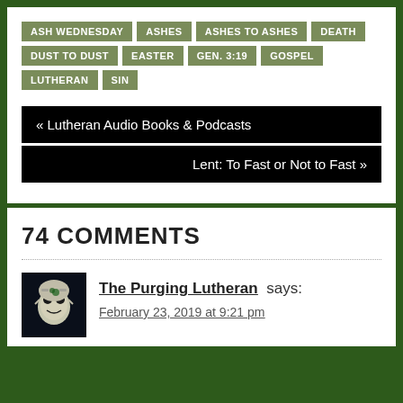ASH WEDNESDAY
ASHES
ASHES TO ASHES
DEATH
DUST TO DUST
EASTER
GEN. 3:19
GOSPEL
LUTHERAN
SIN
« Lutheran Audio Books & Podcasts
Lent: To Fast or Not to Fast »
74 COMMENTS
The Purging Lutheran says:
February 23, 2019 at 9:21 pm